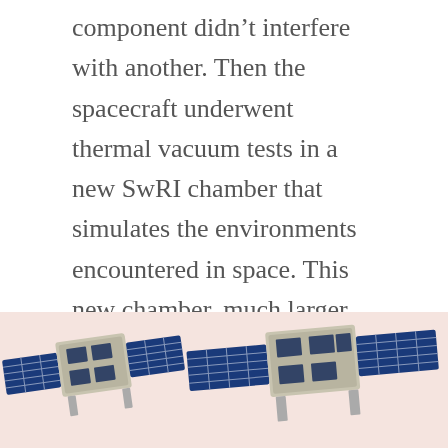component didn't interfere with another. Then the spacecraft underwent thermal vacuum tests in a new SwRI chamber that simulates the environments encountered in space. This new chamber, much larger than other similar SwRI facilities, allowed four spacecraft to be tested together, saving months in the overall project schedule.
[Figure (photo): Two small spacecraft/CubeSats with blue solar panels shown against a light pink/salmon background, partially cropped at the bottom of the page.]